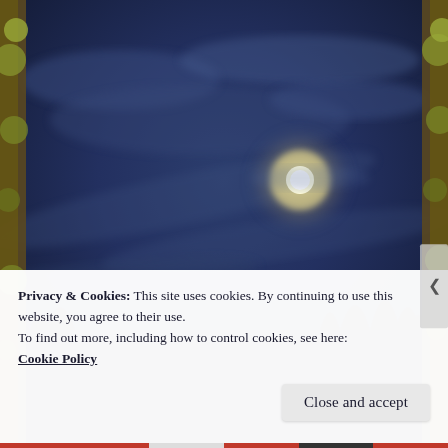[Figure (photo): Night sky photo showing a glowing moon partially obscured by clouds against a deep blue sky, with dark tree silhouettes at the bottom. Yellow-green foliage borders visible on left and right edges.]
Privacy & Cookies: This site uses cookies. By continuing to use this website, you agree to their use.
To find out more, including how to control cookies, see here: Cookie Policy
Close and accept